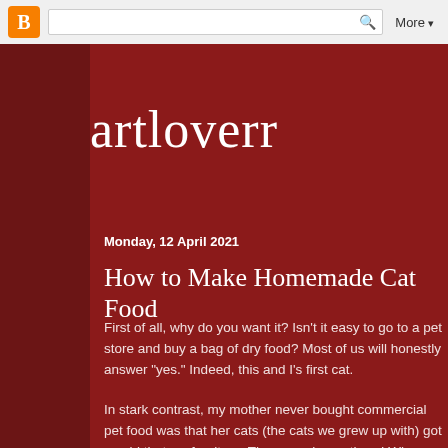Blogger | More ▾
artloverr
Monday, 12 April 2021
How to Make Homemade Cat Food
First of all, why do you want it? Isn't it easy to go to a pet store and buy a bag of dry food? Most of us will honestly answer "yes." Indeed, this and I's first cat.
In stark contrast, my mother never bought commercial pet food was that her cats (the cats we grew up with) got so old that we furniture. They are always there! When her pure-aged cat died,